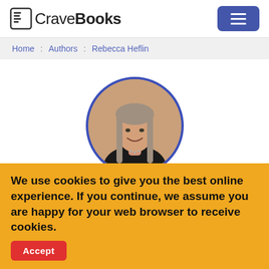CraveBooks
Home : Authors : Rebecca Heflin
[Figure (photo): Circular profile photo of Rebecca Heflin, a woman with long grey-brown hair and a dark top, smiling, with a blue circular border]
We use cookies to give you the best online experience. If you continue, we assume you are happy for your web browser to receive cookies. Accept